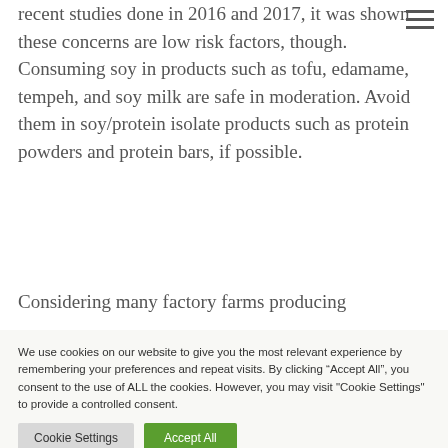recent studies done in 2016 and 2017, it was shown these concerns are low risk factors, though. Consuming soy in products such as tofu, edamame, tempeh, and soy milk are safe in moderation. Avoid them in soy/protein isolate products such as protein powders and protein bars, if possible.
Considering many factory farms producing
We use cookies on our website to give you the most relevant experience by remembering your preferences and repeat visits. By clicking “Accept All”, you consent to the use of ALL the cookies. However, you may visit "Cookie Settings" to provide a controlled consent.